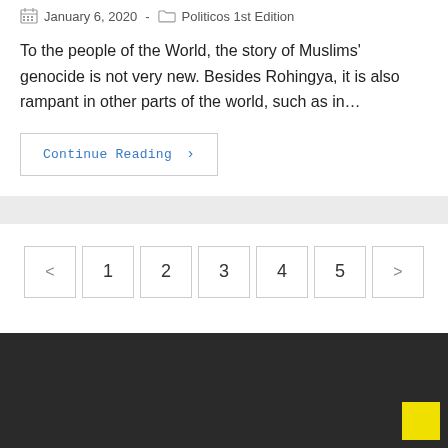January 6, 2020  -  Politicos 1st Edition
To the people of the World, the story of Muslims' genocide is not very new. Besides Rohingya, it is also rampant in other parts of the world, such as in…
Continue Reading >
< 1 2 3 4 5 >